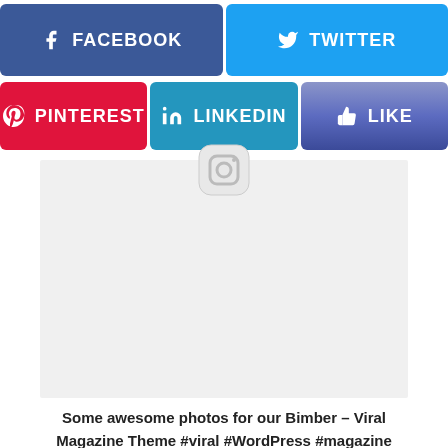[Figure (screenshot): Social media share buttons: Facebook (blue), Twitter (cyan), Pinterest (red), LinkedIn (teal), Like (purple-blue)]
[Figure (screenshot): Instagram embed placeholder with Instagram camera icon and light gray background area]
Some awesome photos for our Bimber – Viral Magazine Theme #viral #WordPress #magazine #theme
A post shared by Bring The Pixel (@bringthepixel) on Mar
Brinbthepixel post shared by for from the awesome...